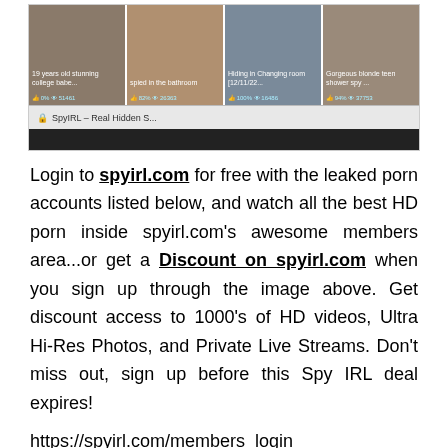[Figure (screenshot): Screenshot of spyirl.com website showing a grid of video thumbnails with titles and ratings. Bottom bar shows 'SpyIRL - Real Hidden S...']
Login to spyirl.com for free with the leaked porn accounts listed below, and watch all the best HD porn inside spyirl.com's awesome members area...or get a Discount on spyirl.com when you sign up through the image above. Get discount access to 1000's of HD videos, Ultra Hi-Res Photos, and Private Live Streams. Don't miss out, sign up before this Spy IRL deal expires!
https://spyirl.com/members_login
PbCTINXfV2U:G9n9sOW34U63